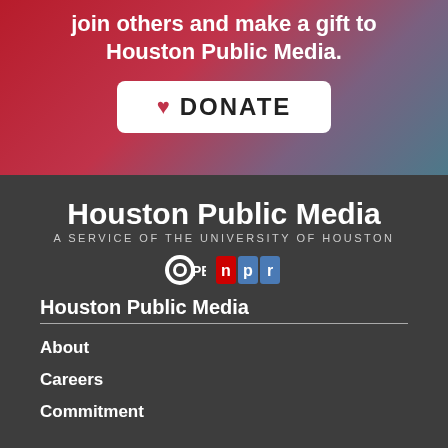join others and make a gift to Houston Public Media.
[Figure (other): White DONATE button with red heart icon on gradient red-to-teal background]
[Figure (logo): Houston Public Media logo with PBS and NPR logos. Text: Houston Public Media, A SERVICE OF THE UNIVERSITY OF HOUSTON]
Houston Public Media
About
Careers
Commitment